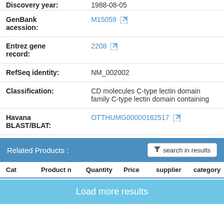| Field | Value |
| --- | --- |
| Discovery year: | 1988-08-05 |
| GenBank acession: | M15059 ↗ |
| Entrez gene record: | 2208 ↗ |
| RefSeq identity: | NM_002002 |
| Classification: | CD molecules C-type lectin domain family C-type lectin domain containing |
| Havana BLAST/BLAT: | OTTHUMG00000182517 ↗ |
Related Products :
| Cat | Product n | Quantity | Price | supplier | category |
| --- | --- | --- | --- | --- | --- |
Load more results